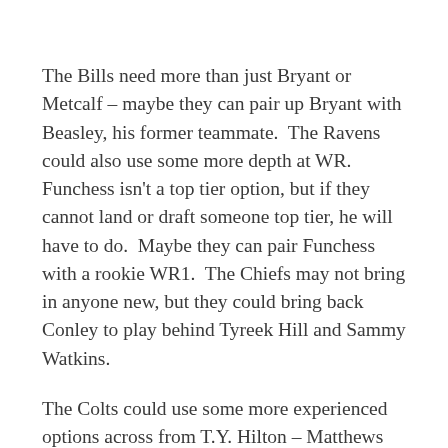The Bills need more than just Bryant or Metcalf – maybe they can pair up Bryant with Beasley, his former teammate.  The Ravens could also use some more depth at WR.  Funchess isn't a top tier option, but if they cannot land or draft someone top tier, he will have to do.  Maybe they can pair Funchess with a rookie WR1.  The Chiefs may not bring in anyone new, but they could bring back Conley to play behind Tyreek Hill and Sammy Watkins.
The Colts could use some more experienced options across from T.Y. Hilton – Matthews